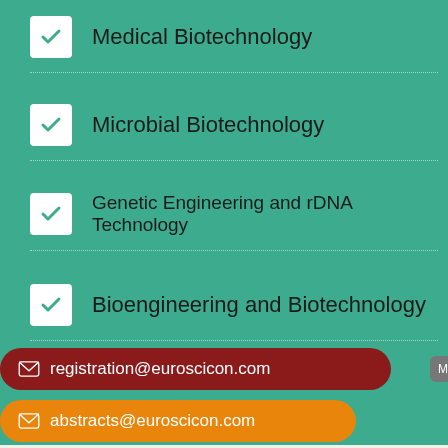Medical Biotechnology
Microbial Biotechnology
Genetic Engineering and rDNA Technology
Bioengineering and Biotechnology
registration@euroscicon.com
More →
abstracts@euroscicon.com
finance@euroscicon.com
contact@euroscicon.com
Business Key Topics
clinic
Biodiesel Production